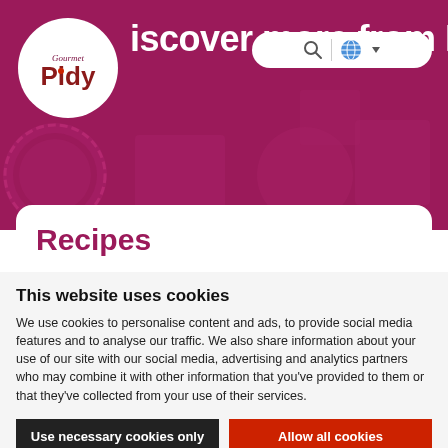[Figure (screenshot): Pidy Gourmet website hero section with dark magenta/maroon background, decorative shapes (circles, squares, scalloped edges) in slightly lighter shades, Pidy Gourmet logo in white circle top left, search bar and globe icon top right, and bold white text reading 'Discover more from Pidy']
Recipes
This website uses cookies
We use cookies to personalise content and ads, to provide social media features and to analyse our traffic. We also share information about your use of our site with our social media, advertising and analytics partners who may combine it with other information that you've provided to them or that they've collected from your use of their services.
Use necessary cookies only
Allow all cookies
Show details